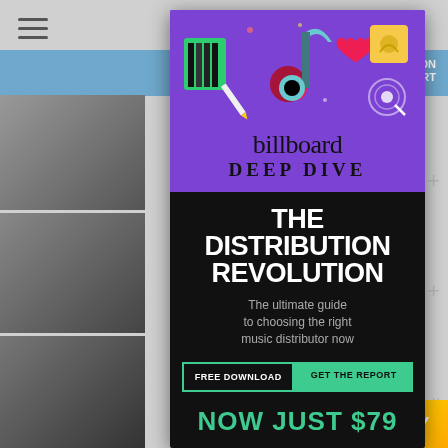[Figure (screenshot): Billboard Deep Dive advertisement overlay on a music chart webpage. Purple and black ad featuring TikTok-related colorful icons at top, Billboard Deep Dive branding, title 'THE DISTRIBUTION REVOLUTION', subtitle 'The ultimate guide to choosing the right music distributor now', FREE DOWNLOAD / GET THE REPORT buttons, and 'NOW JUST $79' price. Background shows hamburger menu, blue navigation bar with 'KS ON HART' text, numbers 1, 5, 2 with plus signs, and grayscale artist photos.]